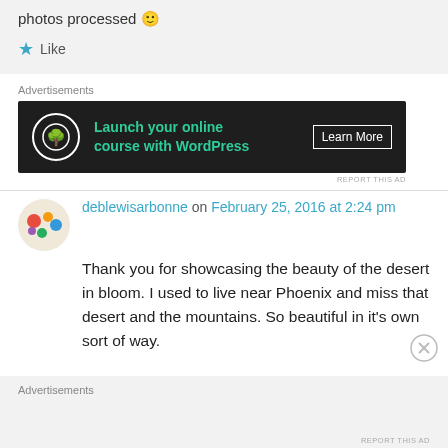photos processed 🙂
★ Like
Advertisements
[Figure (screenshot): Advertisement banner: dark background with tree logo, text 'Launch your online course with WordPress' and 'Learn More' button]
deblewisarbonne on February 25, 2016 at 2:24 pm
Thank you for showcasing the beauty of the desert in bloom. I used to live near Phoenix and miss that desert and the mountains. So beautiful in it's own sort of way.
Advertisements